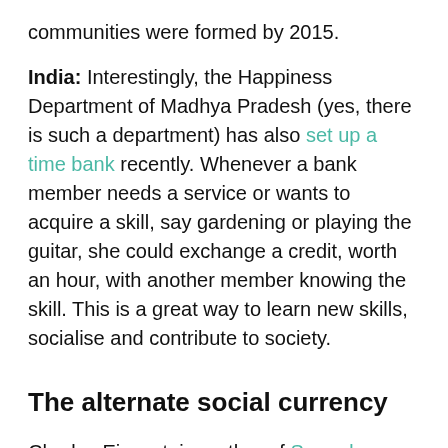communities were formed by 2015.
India: Interestingly, the Happiness Department of Madhya Pradesh (yes, there is such a department) has also set up a time bank recently. Whenever a bank member needs a service or wants to acquire a skill, say gardening or playing the guitar, she could exchange a credit, worth an hour, with another member knowing the skill. This is a great way to learn new skills, socialise and contribute to society.
The alternate social currency
Charles Eisenstein, author of Sacred Economics, sums this concept up beautifully,